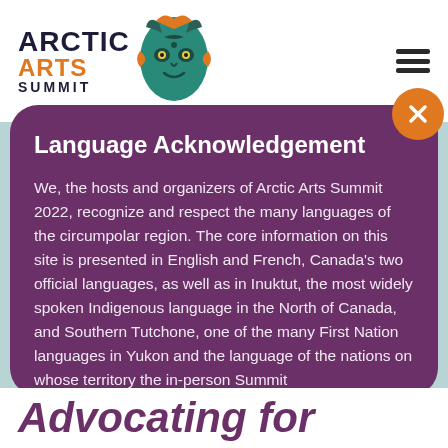[Figure (logo): Arctic Arts Summit logo with Indigenous-style decorative mask graphic in teal/green and orange, with 'ARCTIC ARTS SUMMIT' text in black and orange]
Language Acknowledgement
We, the hosts and organizers of Arctic Arts Summit 2022, recognize and respect the many languages of the circumpolar region. The core information on this site is presented in English and French, Canada's two official languages, as well as in Inuktut, the most widely spoken Indigenous language in the North of Canada, and Southern Tutchone, one of the many First Nation languages in Yukon and the language of the nations on whose territory the in-person Summit
Advocating for